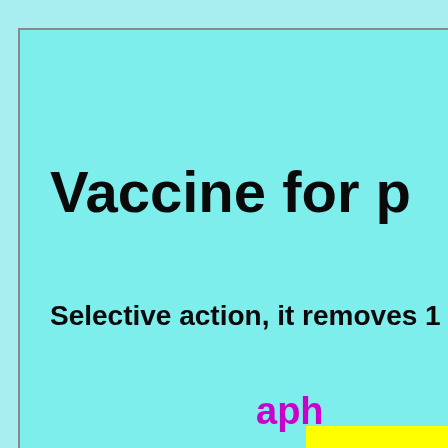Vaccine for p
Selective action, it removes 1
aph